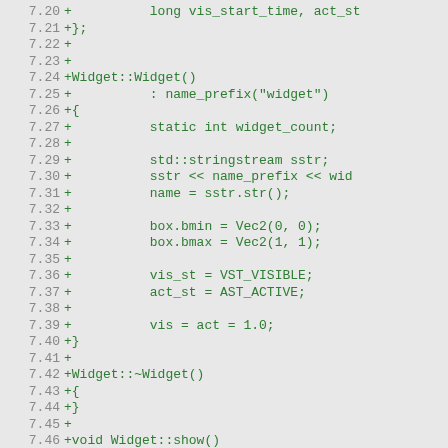Code diff showing Widget class implementation in C++, lines 7.20 through 7.51